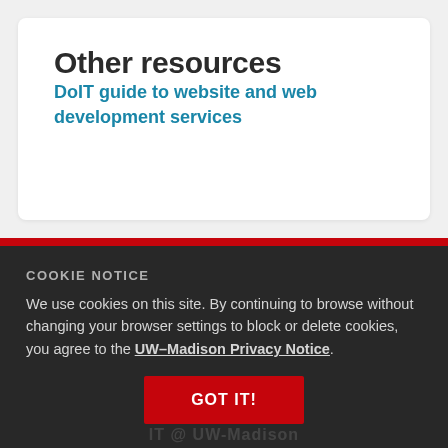Other resources
DoIT guide to website and web development services
COOKIE NOTICE
We use cookies on this site. By continuing to browse without changing your browser settings to block or delete cookies, you agree to the UW–Madison Privacy Notice.
GOT IT!